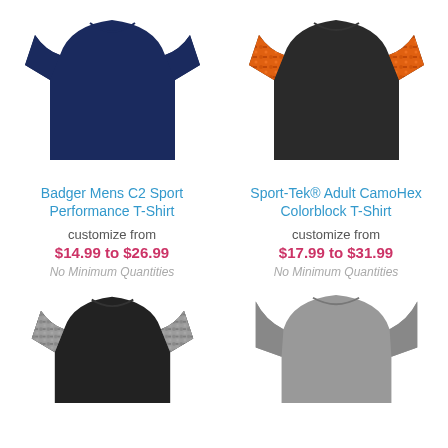[Figure (photo): Navy blue short-sleeve performance t-shirt (Badger Mens C2 Sport)]
[Figure (photo): Black and orange camo colorblock short-sleeve t-shirt (Sport-Tek Adult CamoHex Colorblock)]
Badger Mens C2 Sport Performance T-Shirt
Sport-Tek® Adult CamoHex Colorblock T-Shirt
customize from
$14.99 to $26.99
No Minimum Quantities
customize from
$17.99 to $31.99
No Minimum Quantities
[Figure (photo): Black and gray digital camo short-sleeve t-shirt]
[Figure (photo): Gray long-sleeve performance shirt]